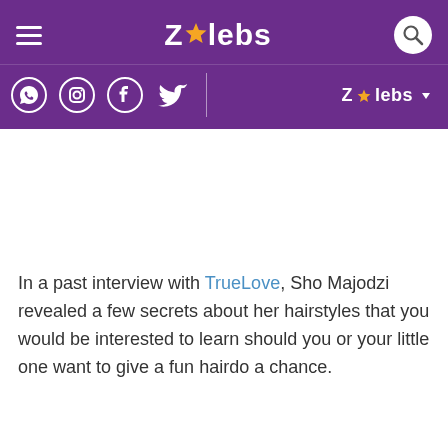ZAlebs
[Figure (logo): ZAlebs website header with hamburger menu, ZAlebs logo (star replacing A), search icon, social media icons (WhatsApp, Instagram, Facebook, Twitter), vertical divider, and ZAlebs brand dropdown label on purple background]
In a past interview with TrueLove, Sho Majodzi revealed a few secrets about her hairstyles that you would be interested to learn should you or your little one want to give a fun hairdo a chance.